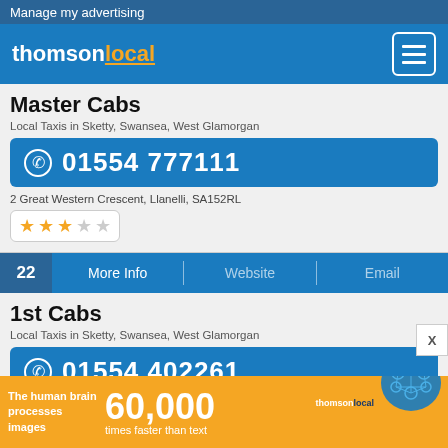Manage my advertising
[Figure (logo): Thomson Local logo with menu button]
Master Cabs
Local Taxis in Sketty, Swansea, West Glamorgan
01554 777111
2 Great Western Crescent, Llanelli, SA152RL
[Figure (other): 3-star rating out of 5 stars]
22  More Info  |  Website  |  Email
1st Cabs
Local Taxis in Sketty, Swansea, West Glamorgan
01554 402261
3 Trinity Terrace, Llanelli, SA152AA
The human brain processes images 60,000 times faster than text